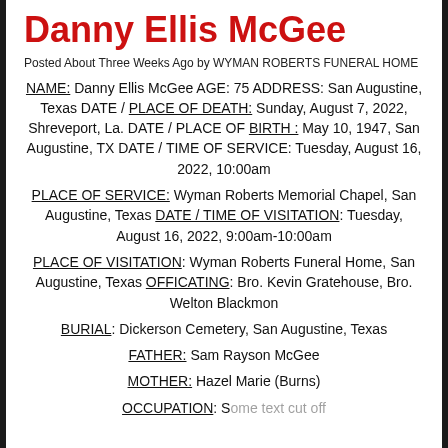Danny Ellis McGee
Posted About Three Weeks Ago by WYMAN ROBERTS FUNERAL HOME
NAME: Danny Ellis McGee AGE: 75 ADDRESS: San Augustine, Texas DATE / PLACE OF DEATH: Sunday, August 7, 2022, Shreveport, La. DATE / PLACE OF BIRTH: May 10, 1947, San Augustine, TX DATE / TIME OF SERVICE: Tuesday, August 16, 2022, 10:00am
PLACE OF SERVICE: Wyman Roberts Memorial Chapel, San Augustine, Texas DATE / TIME OF VISITATION: Tuesday, August 16, 2022, 9:00am-10:00am
PLACE OF VISITATION: Wyman Roberts Funeral Home, San Augustine, Texas OFFICATING: Bro. Kevin Gratehouse, Bro. Welton Blackmon
BURIAL: Dickerson Cemetery, San Augustine, Texas
FATHER: Sam Rayson McGee
MOTHER: Hazel Marie (Burns)
OCCUPATION: ...